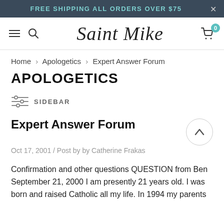FREE SHIPPING ALL ORDERS OVER $75
[Figure (logo): Saint Mike cursive script logo with hamburger menu, search icon, and cart icon with badge showing 0]
Home > Apologetics > Expert Answer Forum
APOLOGETICS
SIDEBAR
Expert Answer Forum
Oct 17, 2001 / Post by by Catherine Frakas
Confirmation and other questions QUESTION from Ben September 21, 2000 I am presently 21 years old. I was born and raised Catholic all my life. In 1994 my parents